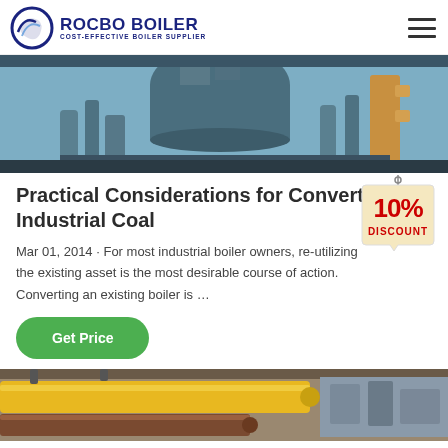ROCBO BOILER — COST-EFFECTIVE BOILER SUPPLIER
[Figure (photo): Industrial boiler equipment with pipes and machinery in a factory setting, bluish-grey tones]
Practical Considerations for Converting Industrial Coal
Mar 01, 2014 · For most industrial boiler owners, re-utilizing the existing asset is the most desirable course of action. Converting an existing boiler is …
[Figure (other): 10% DISCOUNT badge/tag graphic with red text on beige background hanging from a hook]
Get Price
[Figure (photo): Industrial piping system with yellow and brown pipes in a factory, partial view at bottom of page]